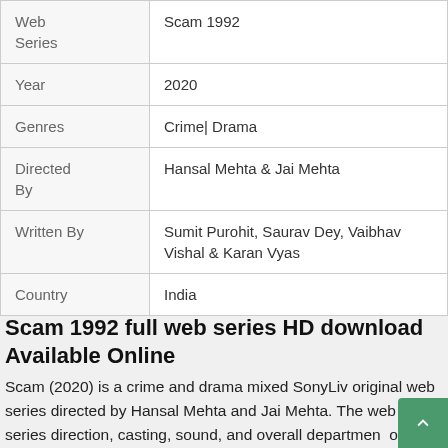| Field | Value |
| --- | --- |
| Web Series | Scam 1992 |
| Year | 2020 |
| Genres | Crime| Drama |
| Directed By | Hansal Mehta & Jai Mehta |
| Written By | Sumit Purohit, Saurav Dey, Vaibhav Vishal & Karan Vyas |
| Country | India |
Scam 1992 full web series HD download Available Online
Scam (2020) is a crime and drama mixed SonyLiv original web series directed by Hansal Mehta and Jai Mehta. The web series direction, casting, sound, and overall department of the film are done very well. The film story is very well